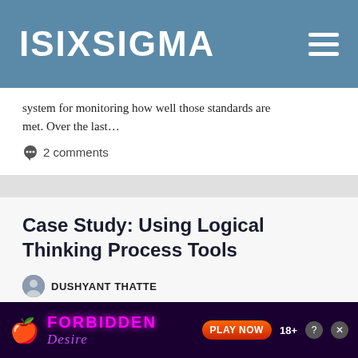ISIXSIGMA
system for monitoring how well those standards are met. Over the last…
💬 2 comments
Case Study: Using Logical Thinking Process Tools
DUSHYANT THATTE
In 2010, the finance department of a Fortune 500 company established a quality audit (QA) system for the company's operations. Toward the end of 2011,
[Figure (screenshot): Advertisement banner for 'Forbidden Desire' game with play now button and 18+ label]